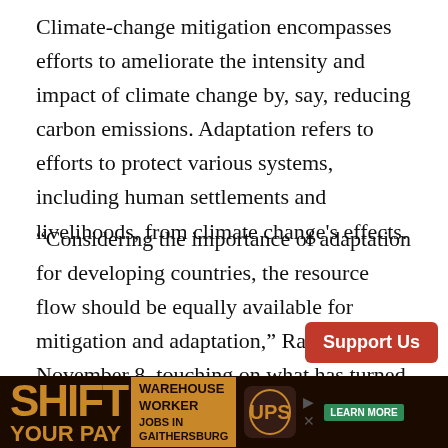Climate-change mitigation encompasses efforts to ameliorate the intensity and impact of climate change by, say, reducing carbon emissions. Adaptation refers to efforts to protect various systems, including human settlements and livelihoods, from climate change's effects.
“Considering the importance of adaptation for developing countries, the resource flow should be equally available for mitigation and adaptation,” Raina said on November 8, touching on what has turned out to be another raw nerve.
Developed nations have historically resisted paying up for losses and adaptation in other parts of the [ad]...r’s histor[y]...
[Figure (other): Advertisement banner: 'SHIFT YOUR PAY' with Warehouse Worker Jobs in Gaithersburg text and UPS logo, with Learn More and Support Us buttons]